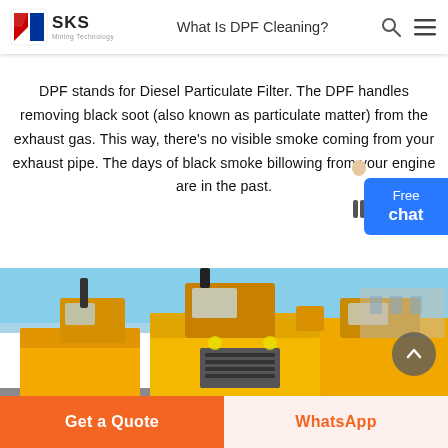What Is DPF Cleaning?
DPF stands for Diesel Particulate Filter. The DPF handles removing black soot (also known as particulate matter) from the exhaust gas. This way, there's no visible smoke coming from your exhaust pipe. The days of black smoke billowing from your engine are in the past.
[Figure (photo): Yellow heavy mining/construction machines (diesel equipment) parked outdoors against a blue sky. Multiple large yellow machines with exhaust stacks, cabins, and mechanical components visible.]
Get a Quote | WhatsApp